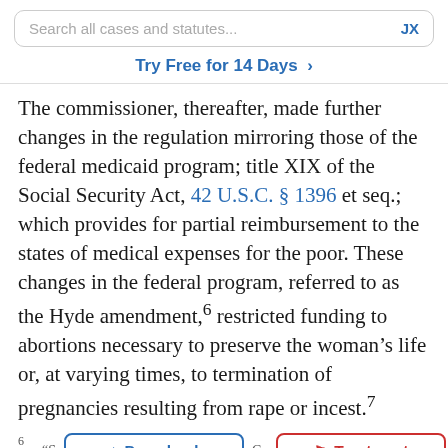Search all cases and statutes... JX
Try Free for 14 Days >
The commissioner, thereafter, made further changes in the regulation mirroring those of the federal medicaid program; title XIX of the Social Security Act, 42 U.S.C. § 1396 et seq.; which provides for partial reimbursement to the states of medical expenses for the poor. These changes in the federal program, referred to as the Hyde amendment,6 restricted funding to abortions necessary to preserve the woman’s life or, at varying times, to termination of pregnancies resulting from rape or incest.7
6 “S...Co— by means of the Hyde Amendment to the annual appropriations for the Department of
Download | Treatment (buttons)